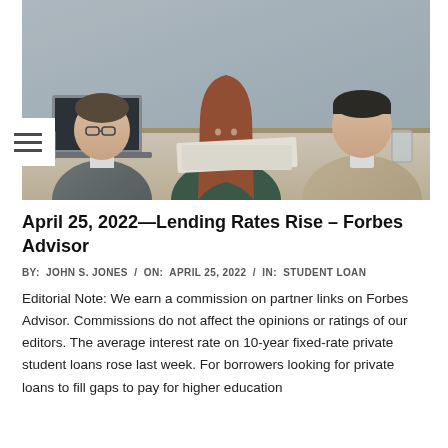[Figure (photo): Three people sitting at a table in an office/meeting setting. A man in a suit with glasses and a laptop sits on the left; a woman with long red-brown hair in the center; a man in a beige sweater on the right. They appear to be reviewing documents together.]
April 25, 2022—Lending Rates Rise – Forbes Advisor
BY:  JOHN S. JONES  /  ON:  APRIL 25, 2022  /  IN:  STUDENT LOAN
Editorial Note: We earn a commission on partner links on Forbes Advisor. Commissions do not affect the opinions or ratings of our editors. The average interest rate on 10-year fixed-rate private student loans rose last week. For borrowers looking for private loans to fill gaps to pay for higher education